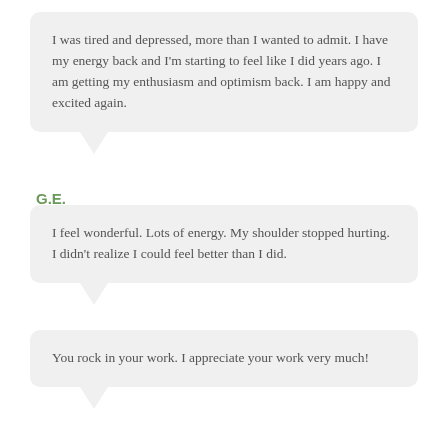I was tired and depressed, more than I wanted to admit. I have my energy back and I'm starting to feel like I did years ago. I am getting my enthusiasm and optimism back. I am happy and excited again.
G.E.
I feel wonderful. Lots of energy. My shoulder stopped hurting. I didn't realize I could feel better than I did.
L.W.
You rock in your work. I appreciate your work very much!
A.F.